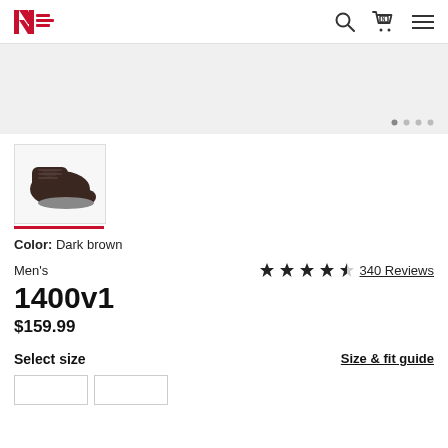New Balance header with logo, search, cart, and menu icons
[Figure (screenshot): Gray banner/image carousel area with navigation dots (4 dots, first active)]
[Figure (photo): Thumbnail of dark brown New Balance 1400v1 hiking boot/shoe with red underline indicator]
Color: Dark brown
Men's
★★★★½  340 Reviews
1400v1
$159.99
Select size
Size & fit guide